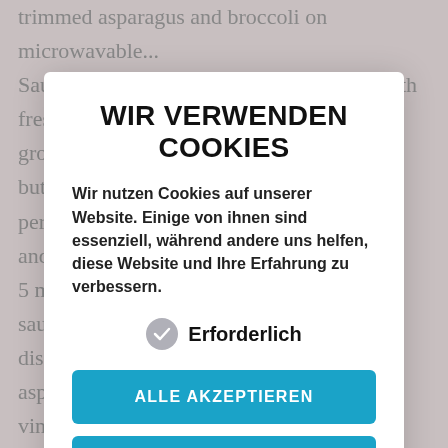trimmed asparagus and broccoli on microwavable... Sauce thickens, 8 to 10 minutes ; season with fresh gro f but per and nd 5 m sau disl asp ic vin Wa sy- to-p nd adj ten so cooks! For some links to products and services on this website delicious side dish that helps round most. With
WIR VERWENDEN COOKIES
Wir nutzen Cookies auf unserer Website. Einige von ihnen sind essenziell, während andere uns helfen, diese Website und Ihre Erfahrung zu verbessern.
✓ Erforderlich
ALLE AKZEPTIEREN
AUSWAHL SPEICHERN